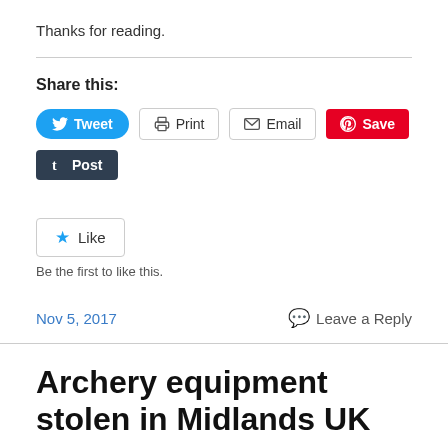Thanks for reading.
Share this:
[Figure (screenshot): Social sharing buttons: Tweet (blue rounded), Print (grey bordered), Email (grey bordered), Save (red Pinterest), Post (dark Tumblr)]
[Figure (screenshot): Like button with star icon]
Be the first to like this.
Nov 5, 2017
Leave a Reply
Archery equipment stolen in Midlands UK